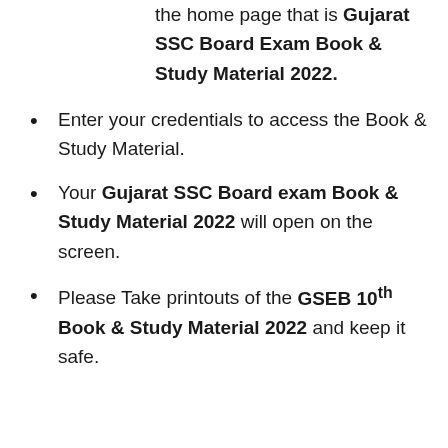the home page that is Gujarat SSC Board Exam Book & Study Material 2022.
Enter your credentials to access the Book & Study Material.
Your Gujarat SSC Board exam Book & Study Material 2022 will open on the screen.
Please Take printouts of the GSEB 10th Book & Study Material 2022 and keep it safe.